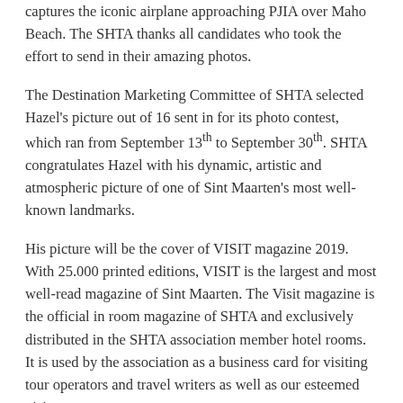captures the iconic airplane approaching PJIA over Maho Beach. The SHTA thanks all candidates who took the effort to send in their amazing photos.
The Destination Marketing Committee of SHTA selected Hazel's picture out of 16 sent in for its photo contest, which ran from September 13th to September 30th. SHTA congratulates Hazel with his dynamic, artistic and atmospheric picture of one of Sint Maarten's most well-known landmarks.
His picture will be the cover of VISIT magazine 2019. With 25.000 printed editions, VISIT is the largest and most well-read magazine of Sint Maarten. The Visit magazine is the official in room magazine of SHTA and exclusively distributed in the SHTA association member hotel rooms. It is used by the association as a business card for visiting tour operators and travel writers as well as our esteemed visitor.
To qualify, the photos needed to show the island's